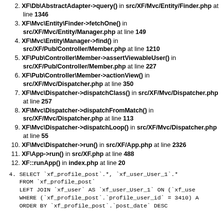2. XF\Db\AbstractAdapter->query() in src/XF/Mvc/Entity/Finder.php at line 1346
3. XF\Mvc\Entity\Finder->fetchOne() in src/XF/Mvc/Entity/Manager.php at line 149
4. XF\Mvc\Entity\Manager->find() in src/XF/Pub/Controller/Member.php at line 1210
5. XF\Pub\Controller\Member->assertViewableUser() in src/XF/Pub/Controller/Member.php at line 227
6. XF\Pub\Controller\Member->actionView() in src/XF/Mvc/Dispatcher.php at line 350
7. XF\Mvc\Dispatcher->dispatchClass() in src/XF/Mvc/Dispatcher.php at line 257
8. XF\Mvc\Dispatcher->dispatchFromMatch() in src/XF/Mvc/Dispatcher.php at line 113
9. XF\Mvc\Dispatcher->dispatchLoop() in src/XF/Mvc/Dispatcher.php at line 55
10. XF\Mvc\Dispatcher->run() in src/XF/App.php at line 2326
11. XF\App->run() in src/XF.php at line 488
12. XF::runApp() in index.php at line 20
4. SELECT `xf_profile_post`.*, `xf_user_User_1`.* FROM `xf_profile_post` LEFT JOIN `xf_user` AS `xf_user_User_1` ON (`xf_use... WHERE (`xf_profile_post`.`profile_user_id` = 3410) A... ORDER BY `xf_profile_post`.`post_date` DESC...